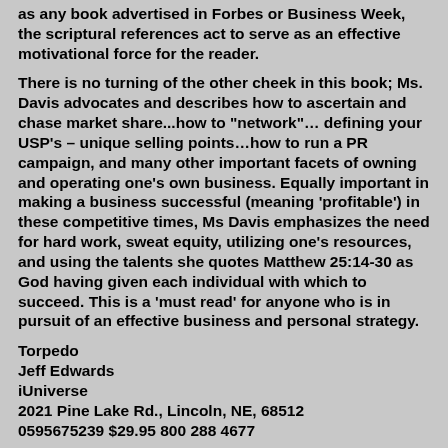as any book advertised in Forbes or Business Week, the scriptural references act to serve as an effective motivational force for the reader.
There is no turning of the other cheek in this book; Ms. Davis advocates and describes how to ascertain and chase market share...how to "network"… defining your USP's – unique selling points…how to run a PR campaign, and many other important facets of owning and operating one's own business. Equally important in making a business successful (meaning 'profitable') in these competitive times, Ms Davis emphasizes the need for hard work, sweat equity, utilizing one's resources, and using the talents she quotes Matthew 25:14-30 as God having given each individual with which to succeed. This is a 'must read' for anyone who is in pursuit of an effective business and personal strategy.
Torpedo
Jeff Edwards
iUniverse
2021 Pine Lake Rd., Lincoln, NE, 68512
0595675239 $29.95 800 288 4677
Author Jeff Edwards is a retired U.S. Navy Chief Petty Officer and Anti-Submarine Warfare Specialist, and he has used his years of Navy expertise to write an electrifying novel. In a style